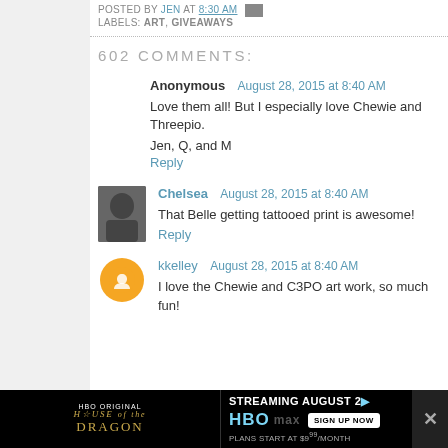POSTED BY JEN AT 8:30 AM
LABELS: ART, GIVEAWAYS
602 COMMENTS:
Anonymous August 28, 2015 at 8:40 AM
Love them all! But I especially love Chewie and Threepio.
Jen, Q, and M
Reply
Chelsea August 28, 2015 at 8:40 AM
That Belle getting tattooed print is awesome!
Reply
kkelley August 28, 2015 at 8:40 AM
I love the Chewie and C3PO art work, so much fun!
[Figure (screenshot): Advertisement banner for HBO House of the Dragon and HBO Max streaming service]